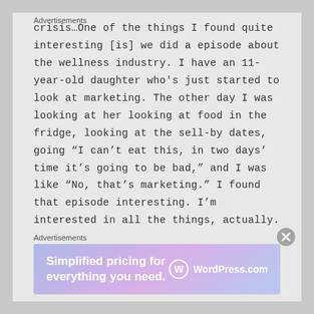crisis…One of the things I found quite interesting [is] we did a episode about the wellness industry. I have an 11-year-old daughter who's just started to look at marketing. The other day I was looking at her looking at food in the fridge, looking at the sell-by dates, going “I can’t eat this, in two days’ time it’s going to be bad,” and I was like “No, that’s marketing.” I found that episode interesting. I’m interested in all the things, actually. I think that’s what’s
Advertisements
[Figure (infographic): WordPress.com advertisement banner with gradient purple/blue background. Left side text: 'Simplified pricing for everything you need.' Right side: WordPress.com logo with circular W icon.]